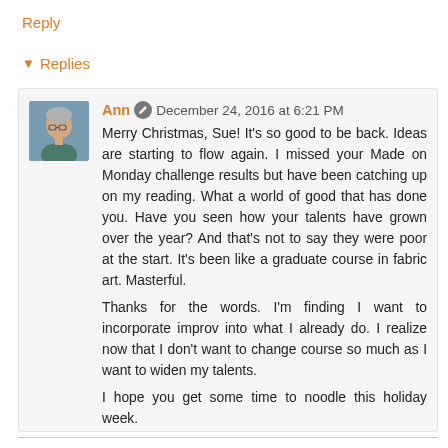Reply
▾ Replies
[Figure (photo): Avatar photo of Ann, an older woman with glasses and short gray hair]
Ann  December 24, 2016 at 6:21 PM
Merry Christmas, Sue! It's so good to be back. Ideas are starting to flow again. I missed your Made on Monday challenge results but have been catching up on my reading. What a world of good that has done you. Have you seen how your talents have grown over the year? And that's not to say they were poor at the start. It's been like a graduate course in fabric art. Masterful.
Thanks for the words. I'm finding I want to incorporate improv into what I already do. I realize now that I don't want to change course so much as I want to widen my talents.
I hope you get some time to noodle this holiday week.